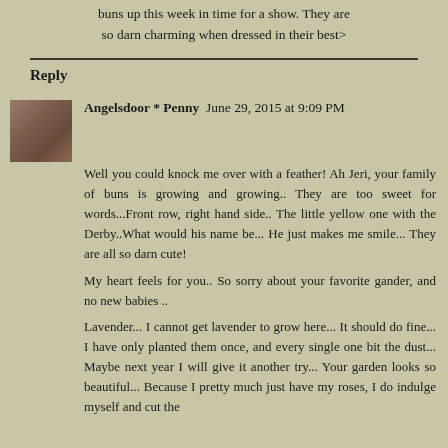buns up this week in time for a show. They are so darn charming when dressed in their best>
Reply
[Figure (photo): Small avatar photo of a person or animal, brownish tones]
Angelsdoor * Penny June 29, 2015 at 9:09 PM
Well you could knock me over with a feather! Ah Jeri, your family of buns is growing and growing.. They are too sweet for words...Front row, right hand side.. The little yellow one with the Derby..What would his name be... He just makes me smile... They are all so darn cute!
My heart feels for you.. So sorry about your favorite gander, and no new babies ..
Lavender... I cannot get lavender to grow here... It should do fine... I have only planted them once, and every single one bit the dust... Maybe next year I will give it another try... Your garden looks so beautiful... Because I pretty much just have my roses, I do indulge myself and cut the